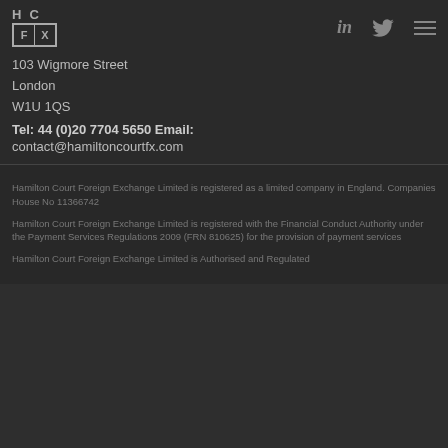[Figure (logo): HC FX logo with H C letters above and F X letters in bordered boxes]
103 Wigmore Street
London
W1U 1QS
Tel: 44 (0)20 7704 5650 Email: contact@hamiltoncourtfx.com
Hamilton Court Foreign Exchange Limited is registered as a limited company in England. Companies House No 11366742
Hamilton Court Foreign Exchange Limited is registered with the Financial Conduct Authority under the Payment Services Regulations 2009 (FRN 810625) for the provision of payment services
Hamilton Court Foreign Exchange Limited is Authorised and Regulated